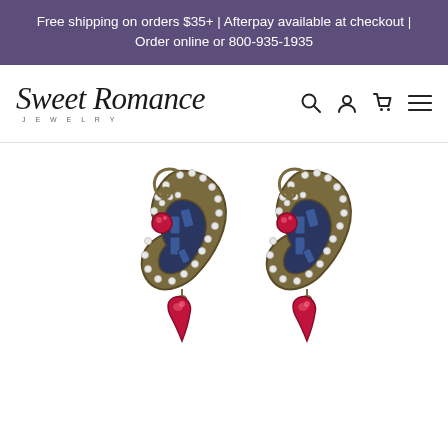Free shipping on orders $35+ | Afterpay available at checkout | Order online or 800-935-1935
[Figure (logo): Sweet Romance Jewelry logo with search, account, cart, and menu icons]
[Figure (photo): Two antique gold paisley-shaped drop earrings with red crystal centers, blue rectangular baguette stones, and clear rhinestone accents, with large red crystal drops at the bottom]